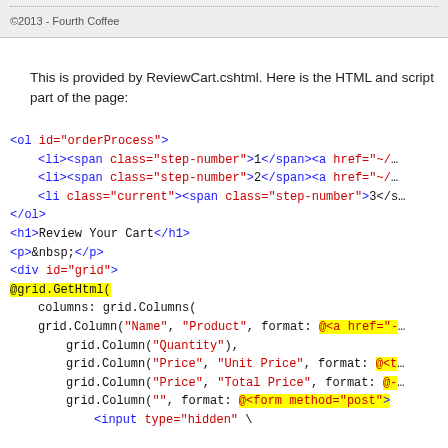©2013 - Fourth Coffee
This is provided by ReviewCart.cshtml. Here is the HTML and script part of the page:
<ol id="orderProcess">
    <li><span class="step-number">1</span><a href="~/...
    <li><span class="step-number">2</span><a href="~/...
    <li class="current"><span class="step-number">3</s...
</ol>
<h1>Review Your Cart</h1>
<p>&nbsp;</p>
<div id="grid">
@grid.GetHtml(
    columns: grid.Columns(
    grid.Column("Name", "Product", format: @<a href="-...
        grid.Column("Quantity"),
        grid.Column("Price", "Unit Price", format: @<t...
        grid.Column("Price", "Total Price", format: @-...
        grid.Column("", format: @<form method="post">
            <input type="hidden" \